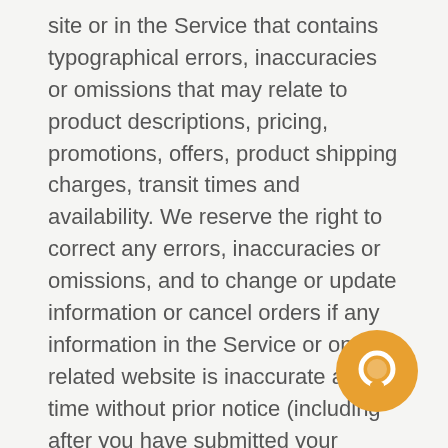site or in the Service that contains typographical errors, inaccuracies or omissions that may relate to product descriptions, pricing, promotions, offers, product shipping charges, transit times and availability. We reserve the right to correct any errors, inaccuracies or omissions, and to change or update information or cancel orders if any information in the Service or on any related website is inaccurate at any time without prior notice (including after you have submitted your order).
We undertake no obligation to update, amend or clarify information in the Service or on any related website, including without limitation pricing information, except as required b... No specified update or refresh date applie... the Service or on any related website, should be